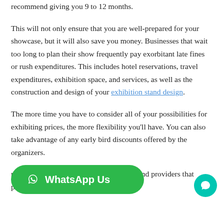recommend giving you 9 to 12 months.
This will not only ensure that you are well-prepared for your showcase, but it will also save you money. Businesses that wait too long to plan their show frequently pay exorbitant late fines or rush expenditures. This includes hotel reservations, travel expenditures, exhibition space, and services, as well as the construction and design of your exhibition stand design.
The more time you have to consider all of your possibilities for exhibiting prices, the more flexibility you'll have. You can also take advantage of any early bird discounts offered by the organizers.
negotiate better rates and locate services and providers that provide the best value.
[Figure (other): WhatsApp Us button (green pill-shaped button with WhatsApp icon) and a teal chat bubble icon in the bottom right corner]